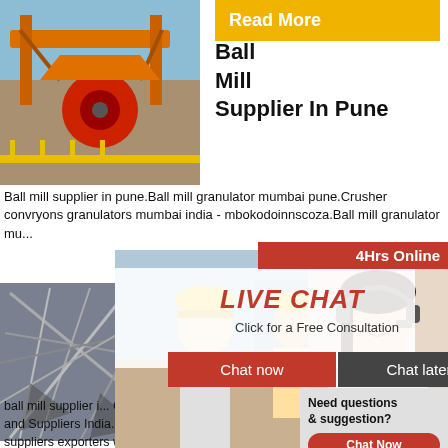[Figure (photo): Orange industrial ball mill / crusher machinery]
Read More
Ball Mill Supplier In Pune
Ball mill supplier in pune.Ball mill granulator mumbai pune.Crusher convryors granulators mumbai india - mbokodoinnscoza.Ball mill granulator mu...
[Figure (photo): Live Chat popup with engineers in hard hats and a headset customer service lady, with LIVE CHAT text and Chat now / Chat later buttons]
[Figure (photo): Collapsed industrial metal structure]
mill supplier in p... kaminholz.de
ball mill supplier i... Chakki in PuneManufacturers and Suppliers India... manufacturers Atta Chakki suppliers exporters wh... distributors in Pune Maharashtra IndiaList of Atta